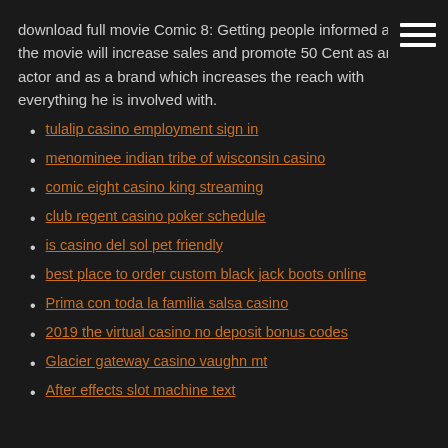menu icon (hamburger)
download full movie Comic 8: Getting people informed about the movie will increase sales and promote 50 Cent as an actor and as a brand which increases the reach with everything he is involved with.
tulalip casino employment sign in
menominee indian tribe of wisconsin casino
comic eight casino king streaming
club regent casino poker schedule
is casino del sol pet friendly
best place to order custom black jack boots online
Prima con toda la familia salsa casino
2019 the virtual casino no deposit bonus codes
Glacier gateway casino vaughn mt
After effects slot machine text